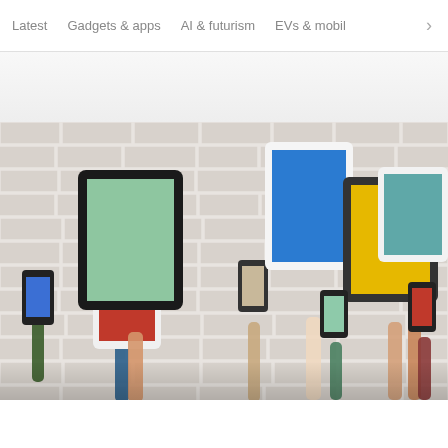Latest   Gadgets & apps   AI & futurism   EVs & mobil  >
[Figure (photo): Multiple hands raised holding various tablets and smartphones with colorful screens (blue, green, red, yellow, teal) against a white brick wall background. Devices include large tablets and smartphones in black and white frames.]